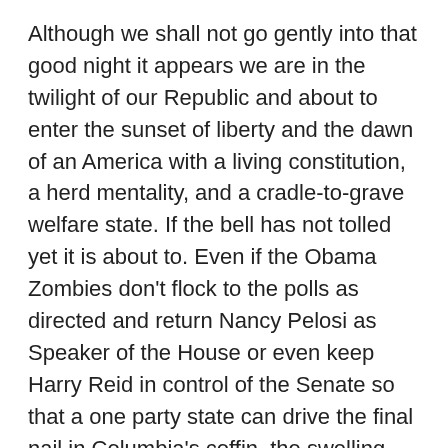Although we shall not go gently into that good night it appears we are in the twilight of our Republic and about to enter the sunset of liberty and the dawn of an America with a living constitution, a herd mentality, and a cradle-to-grave welfare state. If the bell has not tolled yet it is about to. Even if the Obama Zombies don't flock to the polls as directed and return Nancy Pelosi as Speaker of the House or even keep Harry Reid in control of the Senate so that a one party state can drive the final nail in Columbia's coffin, the swelling debt will eventually bring collapse. This is of course the end result of the Progressive's long march towards the realization of the Cloward-Piven Strategy for forcing political change through orchestrated crisis. After the engineered collapse these social planners believe they can impose any type of system they want on a public clamoring for relief.